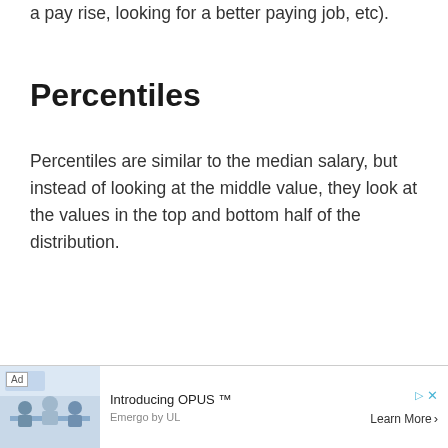a pay rise, looking for a better paying job, etc).
Percentiles
Percentiles are similar to the median salary, but instead of looking at the middle value, they look at the values in the top and bottom half of the distribution.
[Figure (other): Advertisement banner for 'Introducing OPUS ™' by Emergo by UL with a Learn More button and photo of people in a meeting room.]